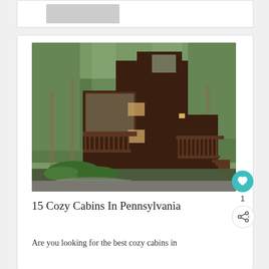[Figure (photo): Partial view of a card at the top of the page showing a gray placeholder image thumbnail]
[Figure (photo): A dark brown multi-story cabin surrounded by green trees and forest, with wooden decks and stairs, landscaped with ferns and stones at the base]
15 Cozy Cabins In Pennsylvania
Are you looking for the best cozy cabins in